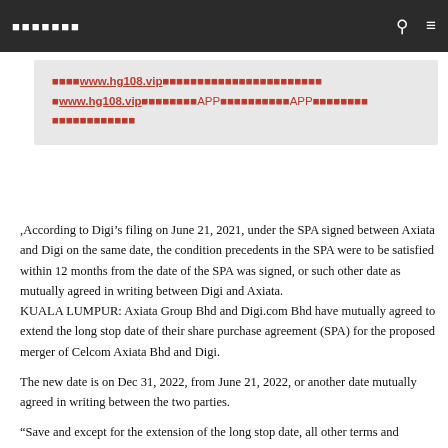▪▪▪▪▪▪▪
▪▪▪▪www.hg108.vip▪▪▪▪▪▪▪▪▪▪▪▪▪▪▪▪▪▪▪▪▪▪▪▪▪www.hg108.vip▪▪▪▪▪▪▪▪APP▪▪▪▪▪▪▪▪▪▪APP▪▪▪▪▪▪▪▪▪▪▪▪▪▪▪▪▪▪▪▪
,According to Digi’s filing on June 21, 2021, under the SPA signed between Axiata and Digi on the same date, the condition precedents in the SPA were to be satisfied within 12 months from the date of the SPA was signed, or such other date as mutually agreed in writing between Digi and Axiata.
KUALA LUMPUR: Axiata Group Bhd and Digi.com Bhd have mutually agreed to extend the long stop date of their share purchase agreement (SPA) for the proposed merger of Celcom Axiata Bhd and Digi.
The new date is on Dec 31, 2022, from June 21, 2022, or another date mutually agreed in writing between the two parties.
“Save and except for the extension of the long stop date, all other terms and conditions of the SPA remain unchanged,” both Axiata and Digi said in their respective filings with Bursa Malaysia, Bernama reported.